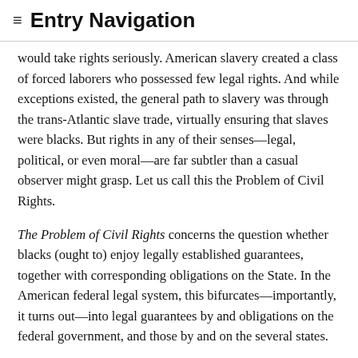≡ Entry Navigation
would take rights seriously. American slavery created a class of forced laborers who possessed few legal rights. And while exceptions existed, the general path to slavery was through the trans-Atlantic slave trade, virtually ensuring that slaves were blacks. But rights in any of their senses—legal, political, or even moral—are far subtler than a casual observer might grasp. Let us call this the Problem of Civil Rights.
The Problem of Civil Rights concerns the question whether blacks (ought to) enjoy legally established guarantees, together with corresponding obligations on the State. In the American federal legal system, this bifurcates—importantly, it turns out—into legal guarantees by and obligations on the federal government, and those by and on the several states.
The Civil Rights Problem arises directly for blacks who are slaves. Given that they are explicitly referred to in the U.S. Constitution in terms of their status as forced laborers rather than in terms of membership as citizens in